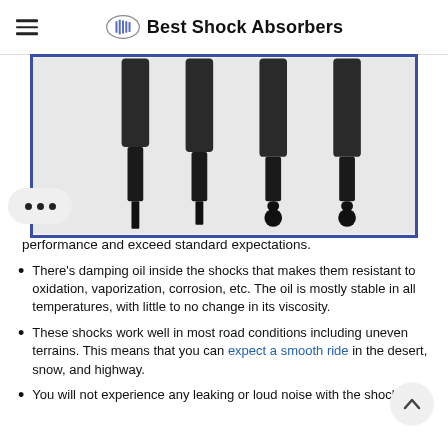Best Shock Absorbers
[Figure (photo): Four shock absorbers standing upright inside a blue-bordered frame, showing cylindrical black bodies tapering to thin stems at bottom, with ball joints visible on the two rightmost.]
performance and exceed standard expectations.
There's damping oil inside the shocks that makes them resistant to oxidation, vaporization, corrosion, etc. The oil is mostly stable in all temperatures, with little to no change in its viscosity.
These shocks work well in most road conditions including uneven terrains. This means that you can expect a smooth ride in the desert, snow, and highway.
You will not experience any leaking or loud noise with the shocks.